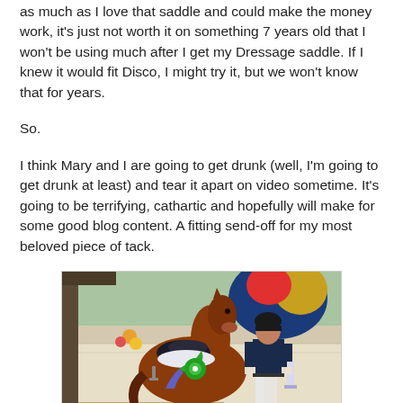as much as I love that saddle and could make the money work, it's just not worth it on something 7 years old that I won't be using much after I get my Dressage saddle. If I knew it would fit Disco, I might try it, but we won't know that for years.
So.
I think Mary and I are going to get drunk (well, I'm going to get drunk at least) and tear it apart on video sometime. It's going to be terrifying, cathartic and hopefully will make for some good blog content. A fitting send-off for my most beloved piece of tack.
[Figure (photo): A woman in equestrian attire standing beside a chestnut horse wearing a saddle and green and blue competition ribbons, at an equestrian competition venue.]